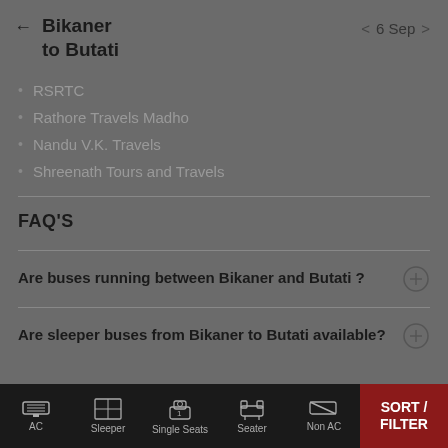Bikaner to Butati  6 Sep
RSRTC
Rathore Travels Madho
Nandu V.K. Travels
Shreenath Tours and Travels
FAQ'S
Are buses running between Bikaner and Butati ?
Are sleeper buses from Bikaner to Butati available?
AC  Sleeper  Single Seats  Seater  Non AC  SORT / FILTER